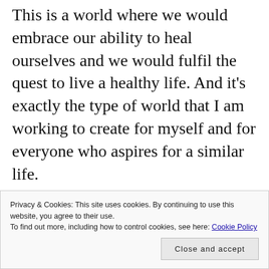This is a world where we would embrace our ability to heal ourselves and we would fulfil the quest to live a healthy life. And it's exactly the type of world that I am working to create for myself and for everyone who aspires for a similar life.
I couldn't be happier to have you along for the ride.
Privacy & Cookies: This site uses cookies. By continuing to use this website, you agree to their use.
To find out more, including how to control cookies, see here: Cookie Policy
[Close and accept]